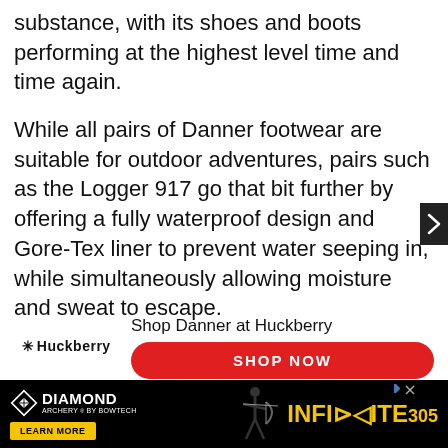substance, with its shoes and boots performing at the highest level time and time again.
While all pairs of Danner footwear are suitable for outdoor adventures, pairs such as the Logger 917 go that bit further by offering a fully waterproof design and Gore-Tex liner to prevent water seeping in, while simultaneously allowing moisture and sweat to escape.
[Figure (infographic): Huckberry promotional widget with logo, 'Shop Danner at Huckberry' title, red 'SHOP NOW' button, and subtext 'International orders over $198 USD ship for free']
[Figure (infographic): Diamond Archery advertisement banner with logo, 'LEARN MORE' button, archer silhouette, and 'INFINITE 305' text in yellow on black background]